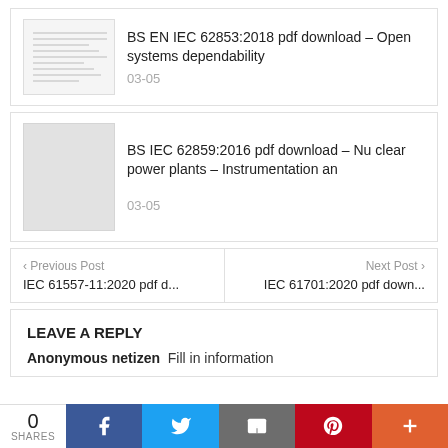[Figure (screenshot): Thumbnail image of a document table of contents page]
BS EN IEC 62853:2018 pdf download – Open systems dependability
03-05
[Figure (photo): Gray placeholder image]
BS IEC 62859:2016 pdf download – Nuclear power plants – Instrumentation an
03-05
‹ Previous Post
IEC 61557-11:2020 pdf d...
Next Post ›
IEC 61701:2020 pdf down...
LEAVE A REPLY
Anonymous netizen  Fill in information